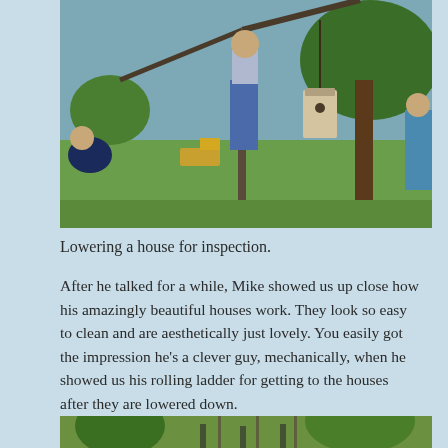[Figure (photo): Outdoor photo showing people near a pole/post structure with a hanging birdhouse being lowered. Green field and large tree in background, sunny day.]
Lowering a house for inspection.
After he talked for a while, Mike showed us up close how his amazingly beautiful houses work. They look so easy to clean and are aesthetically just lovely. You easily got the impression he’s a clever guy, mechanically, when he showed us his rolling ladder for getting to the houses after they are lowered down.
[Figure (photo): Partial view of outdoor scene with people and trees, bottom of page.]